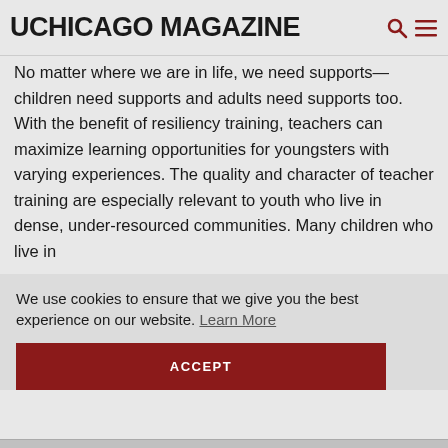UCHICAGO MAGAZINE
No matter where we are in life, we need supports—children need supports and adults need supports too. With the benefit of resiliency training, teachers can maximize learning opportunities for youngsters with varying experiences. The quality and character of teacher training are especially relevant to youth who live in dense, under-resourced communities. Many children who live in [partially obscured] es back [partially obscured] en and
We use cookies to ensure that we give you the best experience on our website. Learn More
ACCEPT